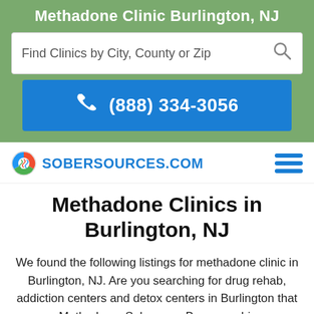Methadone Clinic Burlington, NJ
[Figure (screenshot): Search box with placeholder text 'Find Clinics by City, County or Zip' and a magnifying glass icon on a green background]
[Figure (infographic): Blue phone button with phone icon and number (888) 334-3056]
[Figure (logo): SoberSources.com logo with circular colorful icon and blue text, hamburger menu icon on right]
Methadone Clinics in Burlington, NJ
We found the following listings for methadone clinic in Burlington, NJ. Are you searching for drug rehab, addiction centers and detox centers in Burlington that use Methadone, Suboxone, Buprenorphine or